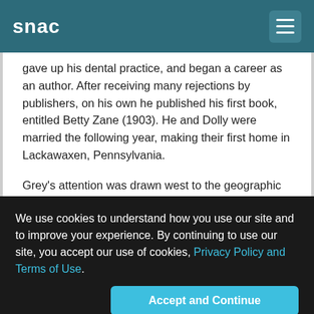snac
gave up his dental practice, and began a career as an author. After receiving many rejections by publishers, on his own he published his first book, entitled Betty Zane (1903). He and Dolly were married the following year, making their first home in Lackawaxen, Pennsylvania.

Grey's attention was drawn west to the geographic area which would provide the setting for most of his major books when he met Charles Jesse ("Buffalo") Jones in 1906. An older hunter who had set out to preserve and breed buffalo which were in danger of extinction, Jones took Grey to the American Southwest for the purpose of having Grey write a book about his life. For weeks Grey lived the life of a Westerner in the deserts of Arizona and Utah. Upon returning to the East fired by his experiences, he expressed his sentiments in "The Last
We use cookies to understand how you use our site and to improve your experience. By continuing to use our site, you accept our use of cookies, Privacy Policy and Terms of Use.